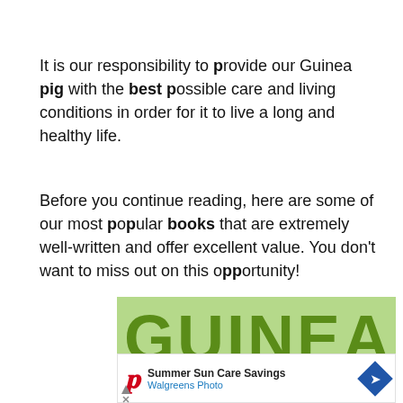It is our responsibility to provide our Guinea pig with the best possible care and living conditions in order for it to live a long and healthy life.
Before you continue reading, here are some of our most popular books that are extremely well-written and offer excellent value. You don't want to miss out on this opportunity!
[Figure (illustration): Partial book cover with light green background showing large bold green text reading 'GUINEA PIG' (partially visible)]